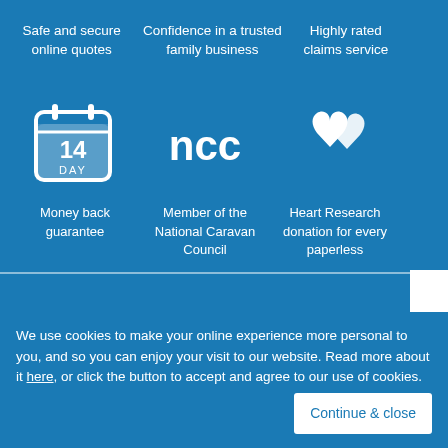Safe and secure online quotes
Confidence in a trusted family business
Highly rated claims service
[Figure (illustration): Calendar icon showing 14 DAY]
[Figure (logo): NCC logo text]
[Figure (logo): Heart Research charity logo - two hearts interlinked]
Money back guarantee
Member of the National Caravan Council
Heart Research donation for every paperless
Leave a message
We use cookies to make your online experience more personal to you, and so you can enjoy your visit to our website. Read more about it here, or click the button to accept and agree to our use of cookies.
Continue & close